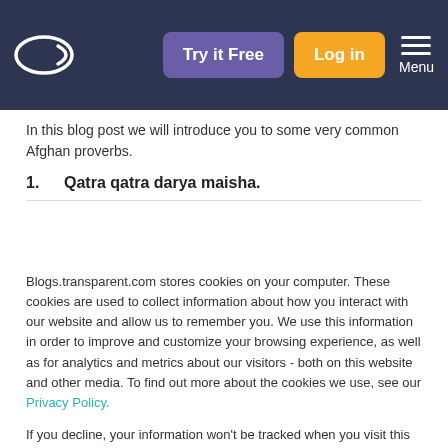Try it Free | Log in | Menu
In this blog post we will introduce you to some very common Afghan proverbs.
1.   Qatra qatra darya maisha.
Blogs.transparent.com stores cookies on your computer. These cookies are used to collect information about how you interact with our website and allow us to remember you. We use this information in order to improve and customize your browsing experience, as well as for analytics and metrics about our visitors - both on this website and other media. To find out more about the cookies we use, see our Privacy Policy.
If you decline, your information won't be tracked when you visit this website. A single cookie will be used in your browser to remember your preference not to be tracked.